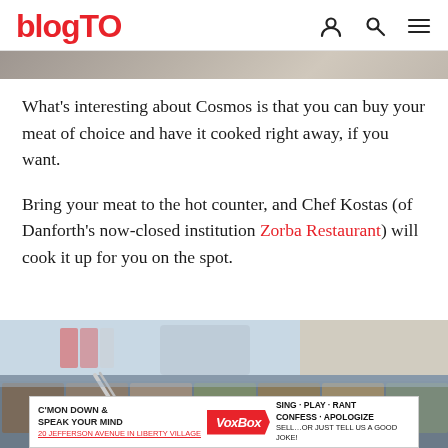blogTO
[Figure (photo): Top strip of a photo showing a restaurant interior, partially cropped]
What's interesting about Cosmos is that you can buy your meat of choice and have it cooked right away, if you want.
Bring your meat to the hot counter, and Chef Kostas (of Danforth's now-closed institution Zorba Restaurant) will cook it up for you on the spot.
[Figure (photo): Bottom photo showing a food counter/deli display with trays of food and serving utensils. An advertisement banner for VoxBox is overlaid at the bottom.]
C'MON DOWN & SPEAK YOUR MIND VoxBox SING · PLAY · RANT CONFESS · APOLOGIZE SELL…or just tell us a good joke! 20 Jefferson Avenue in Liberty Village